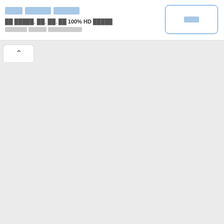███ █████ █████
██ █████, ██, ██, ██ 100% HD █████ ██████ █████ ████████
[Figure (screenshot): A button with Korean/redacted text in blue outlined rounded rectangle]
[Figure (screenshot): A tab/accordion toggle button with upward chevron arrow, white background with rounded top corners]